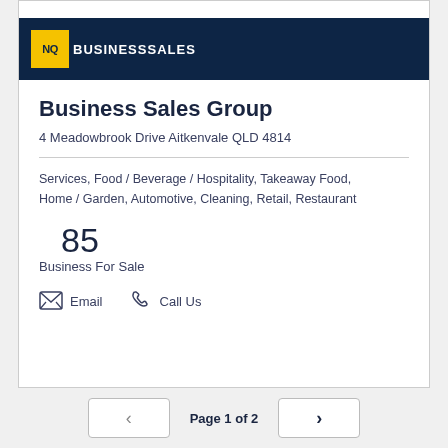[Figure (logo): NQ Business Sales logo — yellow square with 'NQ' text beside 'BUSINESSSALES' in white on dark navy banner]
Business Sales Group
4 Meadowbrook Drive Aitkenvale QLD 4814
Services, Food / Beverage / Hospitality, Takeaway Food, Home / Garden, Automotive, Cleaning, Retail, Restaurant
85
Business For Sale
Email   Call Us
Page 1 of 2